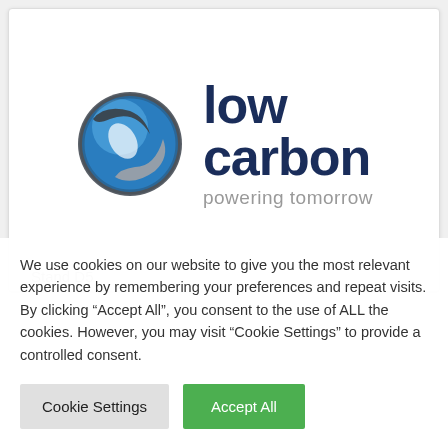[Figure (logo): Low Carbon logo — a blue and grey swooping sphere icon alongside bold navy text 'low carbon' and grey tagline 'powering tomorrow']
Stand D5
We use cookies on our website to give you the most relevant experience by remembering your preferences and repeat visits. By clicking “Accept All”, you consent to the use of ALL the cookies. However, you may visit “Cookie Settings” to provide a controlled consent.
Cookie Settings
Accept All